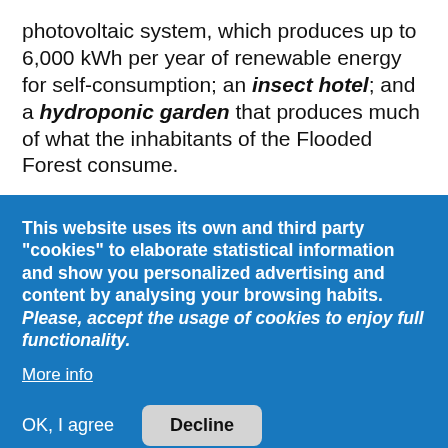photovoltaic system, which produces up to 6,000 kWh per year of renewable energy for self-consumption; an insect hotel; and a hydroponic garden that produces much of what the inhabitants of the Flooded Forest consume.
This website uses its own and third party "cookies" to elaborate statistical information and show you personalized advertising and content by analysing your browsing habits. Please, accept the usage of cookies to enjoy full functionality.
More info
OK, I agree
Decline